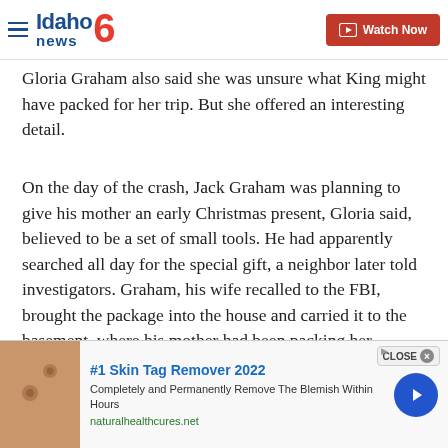Idaho News 6 — Watch Now
Gloria Graham also said she was unsure what King might have packed for her trip. But she offered an interesting detail.
On the day of the crash, Jack Graham was planning to give his mother an early Christmas present, Gloria said, believed to be a set of small tools. He had apparently searched all day for the special gift, a neighbor later told investigators. Graham, his wife recalled to the FBI, brought the package into the house and carried it to the basement, where his mother had been packing her luggage.
[Figure (other): Advertisement banner: #1 Skin Tag Remover 2022 — Completely and Permanently Remove The Blemish Within Hours — naturalhealthcures.net]